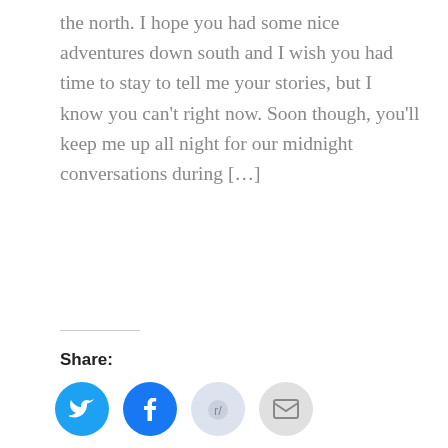the north. I hope you had some nice adventures down south and I wish you had time to stay to tell me your stories, but I know you can't right now. Soon though, you'll keep me up all night for our midnight conversations during […]
Share:
[Figure (infographic): Four social share icon buttons: Twitter (blue), Facebook (blue), Reddit (light blue/grey), Email (grey)]
Reka – Vesterålen
December 19, 2016 / 0 Comments / in Climbing, Mostly-Photos,
This site uses cookies. By continuing to browse the site, you are agreeing to our use of cookies.
Photo: Reka m… frozen landscape, Vesterålen, Norway, October 2016 An October visit